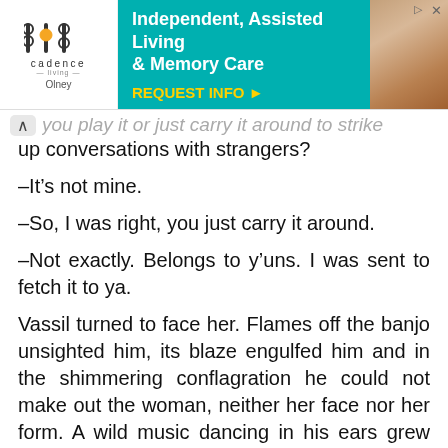[Figure (screenshot): Advertisement banner for Cadence Living – Independent, Assisted Living & Memory Care, with teal background, logo on left, 'REQUEST INFO ▸' CTA in yellow, and photo of elderly couple on right.]
…you play it or just carry it around to strike up conversations with strangers?
—It's not mine.
—So, I was right, you just carry it around.
—Not exactly. Belongs to y'uns. I was sent to fetch it to ya.
Vassil turned to face her. Flames off the banjo unsighted him, its blaze engulfed him and in the shimmering conflagration he could not make out the woman, neither her face nor her form. A wild music dancing in his ears grew louder,